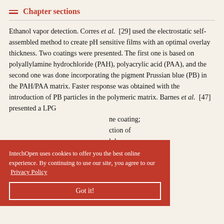Chapter sections
Ethanol vapor detection. Corres et al. [29] used the electrostatic self-assembled method to create pH sensitive films with an optimal overlay thickness. Two coatings were presented. The first one is based on polyallylamine hydrochloride (PAH), polyacrylic acid (PAA), and the second one was done incorporating the pigment Prussian blue (PB) in the PAH/PAA matrix. Faster response was obtained with the introduction of PB particles in the polymeric matrix. Barnes et al. [47] presented a LPG ne coating; ction of lohexane. ity ring down with sensitivity and miniaturization of the sensing probe
IntechOpen uses cookies to offer you the best online experience. By continuing to use our site, you agree to our Privacy Policy
Got it!